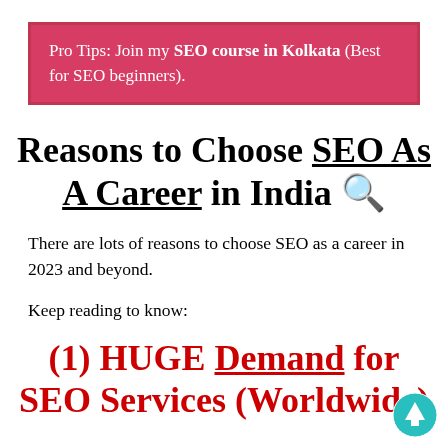Pro Tips: Join my SEO course in Kolkata (Best for SEO beginners).
Reasons to Choose SEO As A Career in India 🔍
There are lots of reasons to choose SEO as a career in 2023 and beyond.
Keep reading to know:
(1) HUGE Demand for SEO Services (Worldwide)